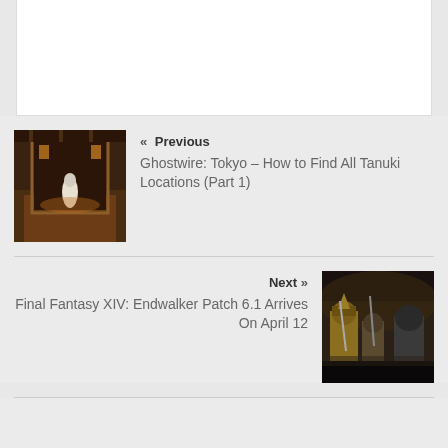[Figure (screenshot): White content box at top of page, partially visible]
« Previous
Ghostwire: Tokyo – How to Find All Tanuki Locations (Part 1)
[Figure (photo): Ghostwire Tokyo screenshot showing a shrine interior with a white robed figure]
Next »
Final Fantasy XIV: Endwalker Patch 6.1 Arrives On April 12
[Figure (photo): Final Fantasy XIV screenshot showing armored characters in a battle scene]